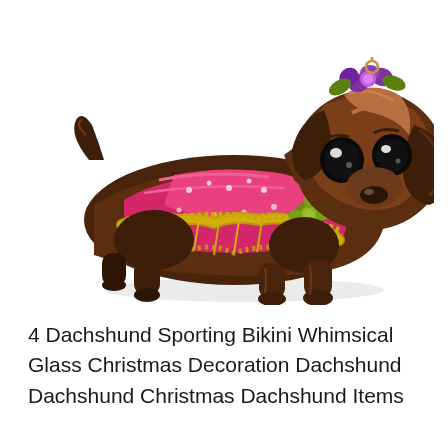[Figure (photo): A decorative glass dachshund figurine wearing a pink bikini/dress with gold tinsel trim and a purple flower headpiece. The figurine has large expressive dark eyes and a shiny brown copper-toned finish. It is posed facing right on a white background.]
4 Dachshund Sporting Bikini Whimsical Glass Christmas Decoration Dachshund Dachshund Christmas Dachshund Items